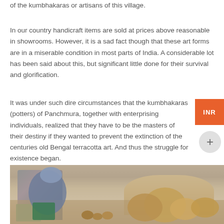of the kumbhakaras or artisans of this village.
In our country handicraft items are sold at prices above reasonable in showrooms. However, it is a sad fact though that these art forms are in a miserable condition in most parts of India. A considerable lot has been said about this, but significant little done for their survival and glorification.
It was under such dire circumstances that the kumbhakaras (potters) of Panchmura, together with enterprising individuals, realized that they have to be the masters of their destiny if they wanted to prevent the extinction of the centuries old Bengal terracotta art. And thus the struggle for existence began.
[Figure (photo): A woman potter working with clay pots and terracotta items, bent over her work in a workshop setting with large clay pieces around her.]